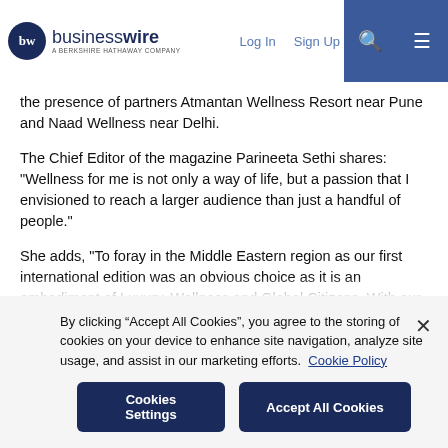businesswire — A BERKSHIRE HATHAWAY COMPANY | Log In | Sign Up
the presence of partners Atmantan Wellness Resort near Pune and Naad Wellness near Delhi.
The Chief Editor of the magazine Parineeta Sethi shares: "Wellness for me is not only a way of life, but a passion that I envisioned to reach a larger audience than just a handful of people."
She adds, "To foray in the Middle Eastern region as our first international edition was an obvious choice as it is an embodiment of Luxury, Wellness and Global Citizens. With our Middle Eastern Edition, we aim to focus on a holistic approach to wellness, the best
By clicking “Accept All Cookies”, you agree to the storing of cookies on your device to enhance site navigation, analyze site usage, and assist in our marketing efforts.  Cookie Policy
Cookies Settings    Accept All Cookies